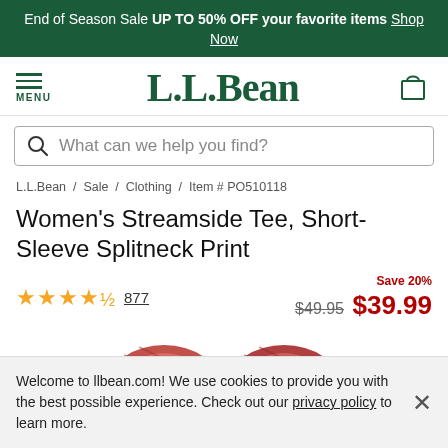End of Season Sale UP TO 50% OFF your favorite items Shop Now
[Figure (logo): L.L.Bean logo with hamburger menu on left and bag icon on right]
What can we help you find?
L.L.Bean / Sale / Clothing / Item # PO510118
Women's Streamside Tee, Short-Sleeve Splitneck Print
Save 20%
★★★★½  877   $49.95  $39.99
[Figure (photo): Partial view of two folded printed tee shirts]
Welcome to llbean.com! We use cookies to provide you with the best possible experience. Check out our privacy policy to learn more.